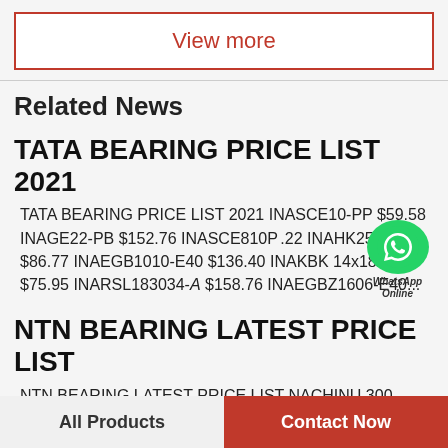View more
Related News
TATA BEARING PRICE LIST 2021
TATA BEARING PRICE LIST 2021 INASCE10-PP $59.58 INAGE22-PB $152.76 INASCE810PP.22 INAHK2518-RS $86.77 INAEGB1010-E40 $136.40 INAKBK 14x18x13 $75.95 INARSL183034-A $158.76 INAEGBZ1606-E40...
NTN BEARING LATEST PRICE LIST
NTN BEARING LATEST PRICE LIST NACHINU 300 $166.13 KOYO53201 $109.20 NACHINU311
All Products
Contact Now